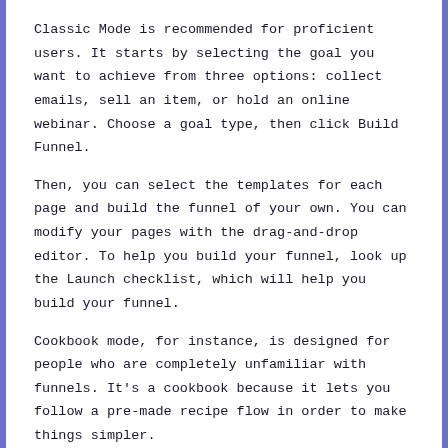Classic Mode is recommended for proficient users. It starts by selecting the goal you want to achieve from three options: collect emails, sell an item, or hold an online webinar. Choose a goal type, then click Build Funnel.
Then, you can select the templates for each page and build the funnel of your own. You can modify your pages with the drag-and-drop editor. To help you build your funnel, look up the Launch checklist, which will help you build your funnel.
Cookbook mode, for instance, is designed for people who are completely unfamiliar with funnels. It's a cookbook because it lets you follow a pre-made recipe flow in order to make things simpler.
All you have to do is start the Cookbook, select an industry, pick the type of funnel and your purpose, choose an appropriate template, then download the funnel templates. It's a simple, step-by-step procedure.